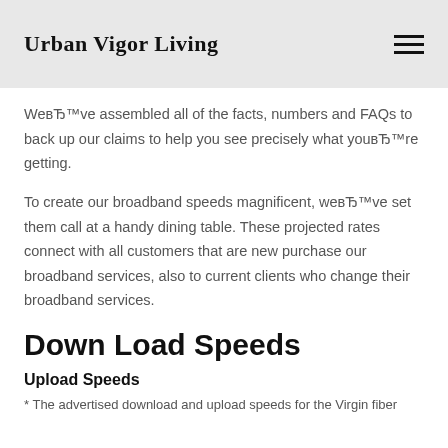Urban Vigor Living
We’ve assembled all of the facts, numbers and FAQs to back up our claims to help you see precisely what you’re getting.
To create our broadband speeds magnificent, we’ve set them call at a handy dining table. These projected rates connect with all customers that are new purchase our broadband services, also to current clients who change their broadband services.
Down Load Speeds
Upload Speeds
* The advertised download and upload speeds for the Virgin fiber